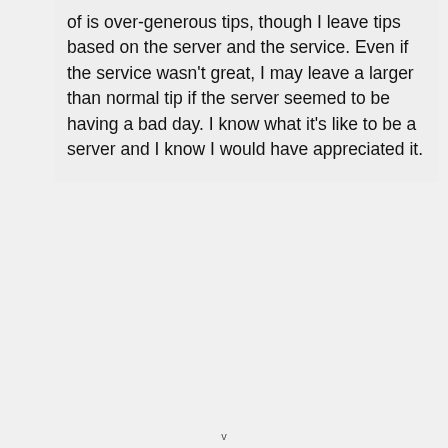of is over-generous tips, though I leave tips based on the server and the service. Even if the service wasn't great, I may leave a larger than normal tip if the server seemed to be having a bad day. I know what it's like to be a server and I know I would have appreciated it.
v